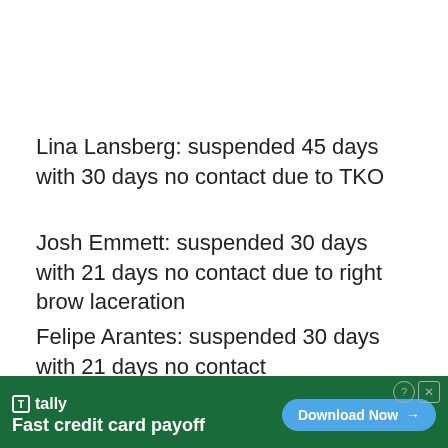Lina Lansberg: suspended 45 days with 30 days no contact due to TKO
Josh Emmett: suspended 30 days with 21 days no contact due to right brow laceration
Felipe Arantes: suspended 30 days with 21 days no contact
UFC Fight Night 118 took place on Saturday, October 21, 2017 at Ergo Arena in Gdańsk, Poland. This event was th[e first that the UFC has hosted in Gdańsk and the se...
[Figure (other): Advertisement banner for Tally app: 'Fast credit card payoff' with Download Now button on dark green background]